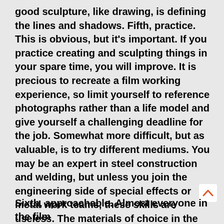good sculpture, like drawing, is defining the lines and shadows. Fifth, practice. This is obvious, but it's important. If you practice creating and sculpting things in your spare time, you will improve. It is precious to recreate a film working experience, so limit yourself to reference photographs rather than a life model and give yourself a challenging deadline for the job. Somewhat more difficult, but as valuable, is to try different mediums. You may be an expert in steel construction and welding, but unless you join the engineering side of special effects or metal work teams, these skills are useless. The materials of choice in the films tend to be low-grade potter's clay and polystyrene.
Sixth, approachable. Almost everyone in the film